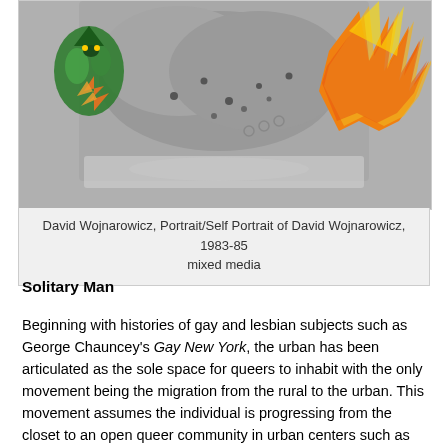[Figure (photo): Artwork by David Wojnarowicz showing a grayscale figure with arms crossed, overlaid with colorful collage elements including a dragon/creature on the left and orange/yellow feathers or flames on the right.]
David Wojnarowicz, Portrait/Self Portrait of David Wojnarowicz, 1983-85
mixed media
Solitary Man
Beginning with histories of gay and lesbian subjects such as George Chauncey's Gay New York, the urban has been articulated as the sole space for queers to inhabit with the only movement being the migration from the rural to the urban. This movement assumes the individual is progressing from the closet to an open queer community in urban centers such as New York and San Francisco.  In her study of the gay migration to San Francisco in the 1970s and 1980s, Kath Weston details the construction of the urban environment as the only place to be out.  Her article “Get Thee to a Big City: Sexual Imaginary and the Great Gay Migration” highlights how the migration of gays and lesbians to